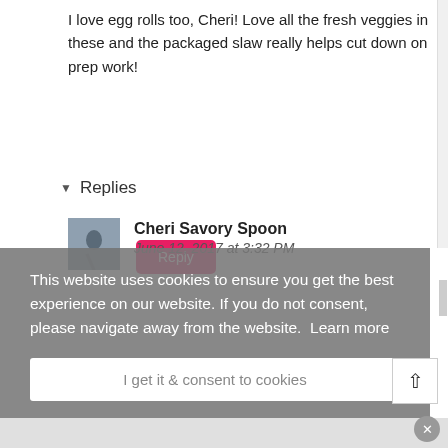I love egg rolls too, Cheri! Love all the fresh veggies in these and the packaged slaw really helps cut down on prep work!
Reply
▾ Replies
[Figure (photo): Small avatar photo of a person on a beach]
Cheri Savory Spoon
June 12, 2017 at 3:32 PM
This website uses cookies to ensure you get the best experience on our website. If you do not consent, please navigate away from the website.  Learn more
I get it & consent to cookies